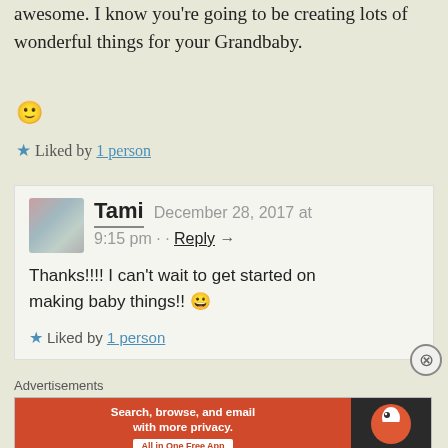awesome. I know you're going to be creating lots of wonderful things for your Grandbaby. 🙂
★ Liked by 1 person
Tami  December 28, 2017 at 9:15 pm · · Reply →
Thanks!!!! I can't wait to get started on making baby things!! 😀
★ Liked by 1 person
[Figure (infographic): DuckDuckGo advertisement banner: 'Search, browse, and email with more privacy. All in One Free App' with DuckDuckGo logo on dark right panel]
Advertisements